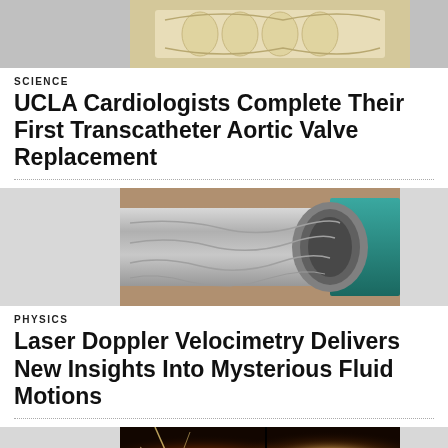[Figure (photo): Partial top image of a heart valve device on gray background, cropped at top of page]
SCIENCE
UCLA Cardiologists Complete Their First Transcatheter Aortic Valve Replacement
[Figure (photo): Close-up photo of a metallic pipe or tube with teal/green colored tape or ring wrapped around it, showing a cylindrical metal surface]
PHYSICS
Laser Doppler Velocimetry Delivers New Insights Into Mysterious Fluid Motions
[Figure (photo): Solar flare or sun surface image showing bright golden/orange light emissions against dark background, partially cropped at bottom of page]